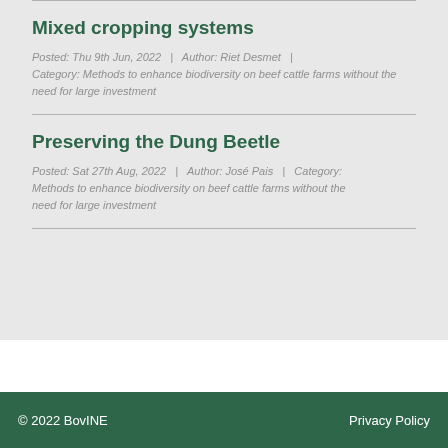Mixed cropping systems
Posted: Thu 9th Jun, 2022   |   Author: Riet Desmet   |   Category: Methods to enhance biodiversity on beef cattle farms without the need for large investment
Preserving the Dung Beetle
Posted: Sat 27th Aug, 2022   |   Author: José Pais   |   Category: Methods to enhance biodiversity on beef cattle farms without the need for large investment
© 2022 BovINE    Privacy Policy